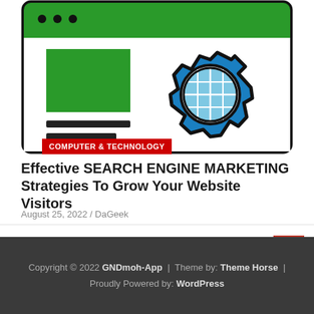[Figure (illustration): Browser window illustration with a gear/settings icon containing a globe (SEO/web marketing concept). Green header bar with dots, green rectangle block, two horizontal lines, and a blue gear with globe icon.]
COMPUTER & TECHNOLOGY
Effective SEARCH ENGINE MARKETING Strategies To Grow Your Website Visitors
August 25, 2022 / DaGeek
Copyright © 2022 GNDmoh-App | Theme by: Theme Horse | Proudly Powered by: WordPress